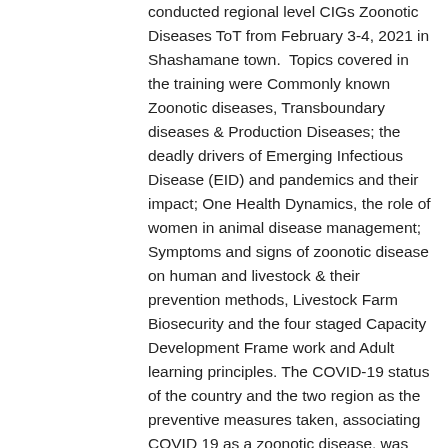conducted regional level CIGs Zoonotic Diseases ToT from February 3-4, 2021 in Shashamane town.  Topics covered in the training were Commonly known Zoonotic diseases, Transboundary diseases & Production Diseases; the deadly drivers of Emerging Infectious Disease (EID) and pandemics and their impact; One Health Dynamics, the role of women in animal disease management; Symptoms and signs of zoonotic disease on human and livestock & their prevention methods, Livestock Farm Biosecurity and the four staged Capacity Development Frame work and Adult learning principles. The COVID-19 status of the country and the two region as the preventive measures taken, associating COVID 19 as a zoonotic disease, was discussed during the training. In the refresher training 27 male (22 animal health professionals and 5 ZCDOs) participants attended. The participants were drawn